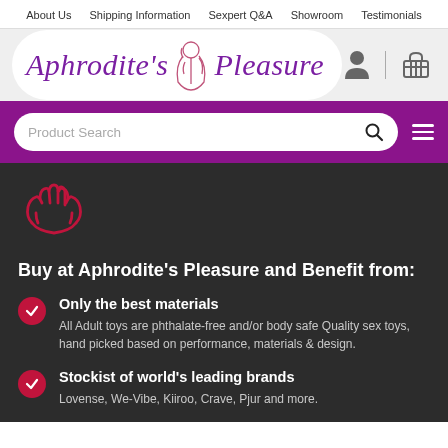About Us  Shipping Information  Sexpert Q&A  Showroom  Testimonials
[Figure (logo): Aphrodite's Pleasure logo with stylized script text and goddess illustration in pink/purple, with user account and shopping basket icons]
[Figure (screenshot): Product Search bar with search icon on purple background, with hamburger menu icon]
[Figure (illustration): Red outline icon of two hands holding/cradling a heart shape]
Buy at Aphrodite's Pleasure and Benefit from:
Only the best materials - All Adult toys are phthalate-free and/or body safe Quality sex toys, hand picked based on performance, materials & design.
Stockist of world's leading brands - Lovense, We-Vibe, Kiiroo, Crave, Pjur and more.